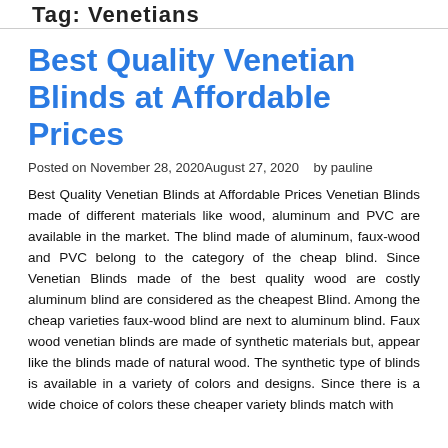Tag: Venetians
Best Quality Venetian Blinds at Affordable Prices
Posted on November 28, 2020August 27, 2020   by pauline
Best Quality Venetian Blinds at Affordable Prices Venetian Blinds made of different materials like wood, aluminum and PVC are available in the market. The blind made of aluminum, faux-wood and PVC belong to the category of the cheap blind. Since Venetian Blinds made of the best quality wood are costly aluminum blind are considered as the cheapest Blind. Among the cheap varieties faux-wood blind are next to aluminum blind. Faux wood venetian blinds are made of synthetic materials but, appear like the blinds made of natural wood. The synthetic type of blinds is available in a variety of colors and designs. Since there is a wide choice of colors these cheaper variety blinds match with